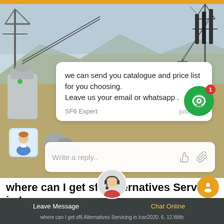[Figure (screenshot): Screenshot of a live chat widget overlaid on a photo of an electrical substation. The chat shows a message from 'SF6 Expert' saying 'we can send you catalogue and price list for you choosing. Leave us your email or whatsapp.' with a reply input box below.]
where can I get sf6 Alternatives Servicing in Iran
Leave Message   Chat Online   where can I get sf6 Alternatives Servicing in Iran2020. 6. 12.With